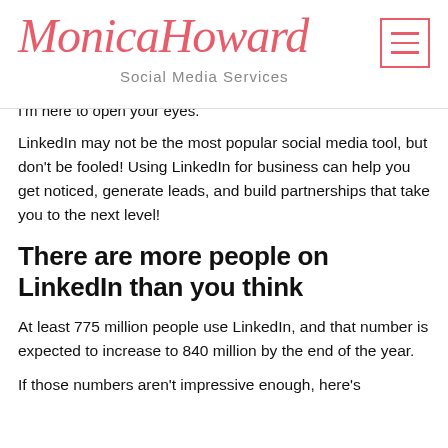Monica Howard Social Media Services
I'm here to open your eyes.
LinkedIn may not be the most popular social media tool, but don't be fooled! Using LinkedIn for business can help you get noticed, generate leads, and build partnerships that take you to the next level!
There are more people on LinkedIn than you think
At least 775 million people use LinkedIn, and that number is expected to increase to 840 million by the end of the year.
If those numbers aren't impressive enough, here's